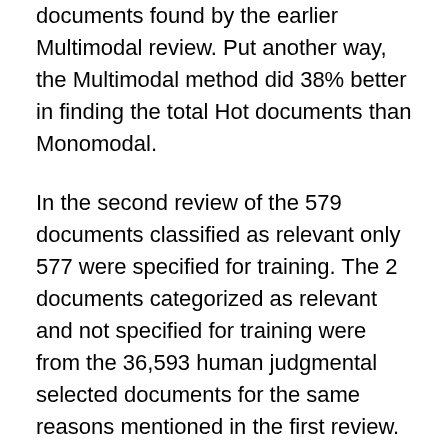documents found by the earlier Multimodal review. Put another way, the Multimodal method did 38% better in finding the total Hot documents than Monomodal.
In the second review of the 579 documents classified as relevant only 577 were specified for training. The 2 documents categorized as relevant and not specified for training were from the 36,593 human judgmental selected documents for the same reasons mentioned in the first review. Further, 1 relevant document specified for training was not in fact used to train the system, but was instead used by the Inview software as part of the control set. Therefore only 576 relevant documents were used for machine training.
In the second review of the 48,380 documents classified as irrelevant only 10,948 were used for training. All 10,000